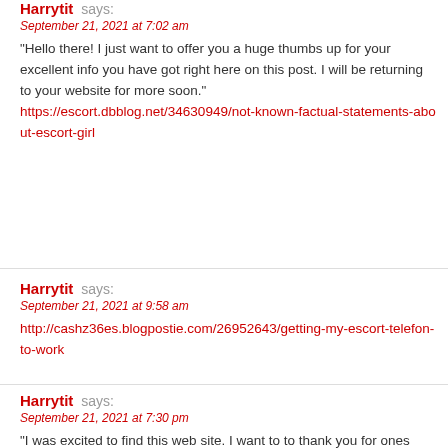Harrytit says:
September 21, 2021 at 7:02 am
"Hello there! I just want to offer you a huge thumbs up for your excellent info you have got right here on this post. I will be returning to your website for more soon."
https://escort.dbblog.net/34630949/not-known-factual-statements-about-escort-girl
Harrytit says:
September 21, 2021 at 9:58 am
http://cashz36es.blogpostie.com/26952643/getting-my-escort-telefon-to-work
Harrytit says:
September 21, 2021 at 7:30 pm
"I was excited to find this web site. I want to to thank you for ones time just for this fantastic read!! I definitely really liked every part of it and I have you